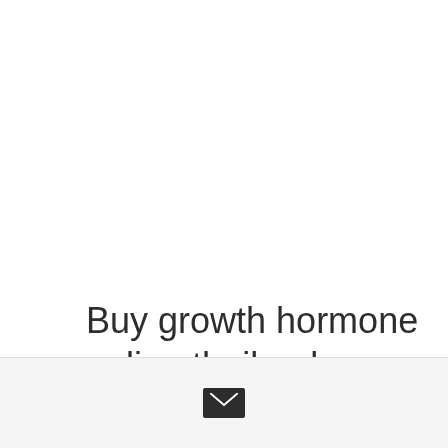Buy growth hormone online thailand
[Figure (other): Email/envelope icon button on a light grey bar at the bottom of the page]